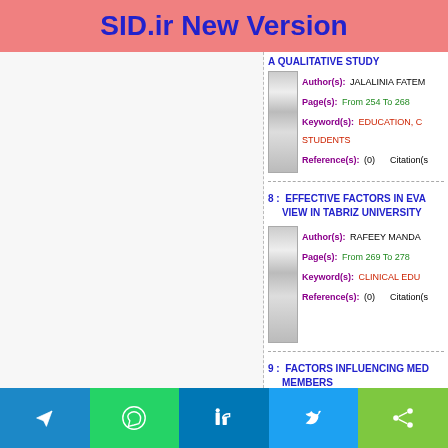SID.ir New Version
A QUALITATIVE STUDY
Author(s): JALALINIA FATEM
Page(s): From 254 To 268
Keyword(s): EDUCATION, C... STUDENTS
Reference(s): (0)   Citation(s...
8 :  EFFECTIVE FACTORS IN EVA... VIEW IN TABRIZ UNIVERSITY
Author(s): RAFEEY MANDA...
Page(s): From 269 To 278
Keyword(s): CLINICAL EDU...
Reference(s): (0)   Citation(s...
9 :  FACTORS INFLUENCING MED... MEMBERS
Telegram | WhatsApp | LinkedIn | Twitter | Share